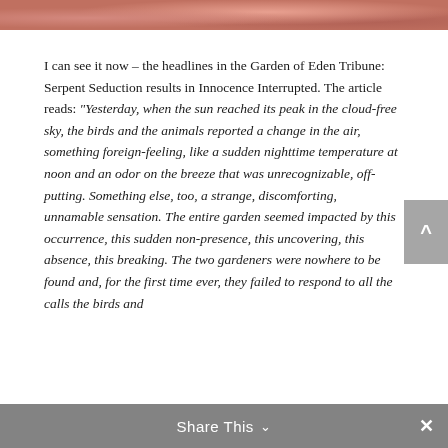[Figure (photo): Partial photo strip at top of page showing warm reddish-pink tones, likely people]
I can see it now – the headlines in the Garden of Eden Tribune: Serpent Seduction results in Innocence Interrupted. The article reads: “Yesterday, when the sun reached its peak in the cloud-free sky, the birds and the animals reported a change in the air, something foreign-feeling, like a sudden nighttime temperature at noon and an odor on the breeze that was unrecognizable, off-putting. Something else, too, a strange, discomforting, unnamable sensation. The entire garden seemed impacted by this occurrence, this sudden non-presence, this uncovering, this absence, this breaking. The two gardeners were nowhere to be found and, for the first time ever, they failed to respond to all the calls the birds and
Share This ⌄  ×